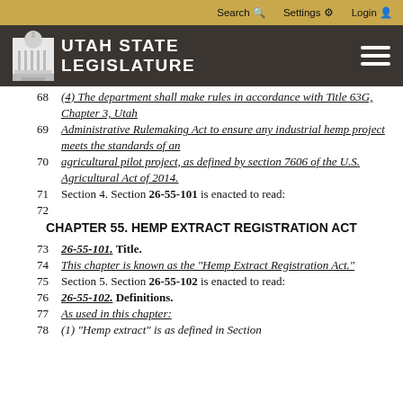Search  Settings  Login
[Figure (logo): Utah State Legislature logo with capitol building icon on dark brown background]
68    (4) The department shall make rules in accordance with Title 63G, Chapter 3, Utah
69    Administrative Rulemaking Act to ensure any industrial hemp project meets the standards of an
70    agricultural pilot project, as defined by section 7606 of the U.S. Agricultural Act of 2014.
71    Section 4. Section 26-55-101 is enacted to read:
72
CHAPTER 55. HEMP EXTRACT REGISTRATION ACT
73    26-55-101. Title.
74    This chapter is known as the "Hemp Extract Registration Act."
75    Section 5. Section 26-55-102 is enacted to read:
76    26-55-102. Definitions.
77    As used in this chapter:
78    (1) "Hemp extract" is as defined in Section